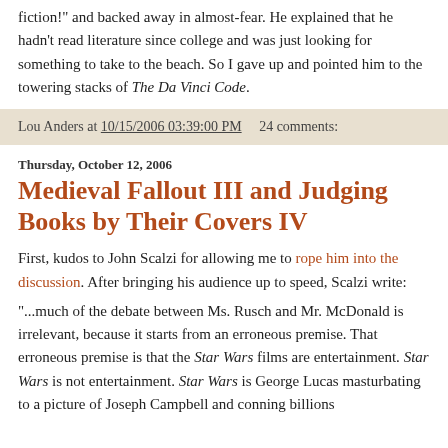fiction!" and backed away in almost-fear. He explained that he hadn't read literature since college and was just looking for something to take to the beach. So I gave up and pointed him to the towering stacks of The Da Vinci Code.
Lou Anders at 10/15/2006 03:39:00 PM    24 comments:
Thursday, October 12, 2006
Medieval Fallout III and Judging Books by Their Covers IV
First, kudos to John Scalzi for allowing me to rope him into the discussion. After bringing his audience up to speed, Scalzi write:
"...much of the debate between Ms. Rusch and Mr. McDonald is irrelevant, because it starts from an erroneous premise. That erroneous premise is that the Star Wars films are entertainment. Star Wars is not entertainment. Star Wars is George Lucas masturbating to a picture of Joseph Campbell and conning billions